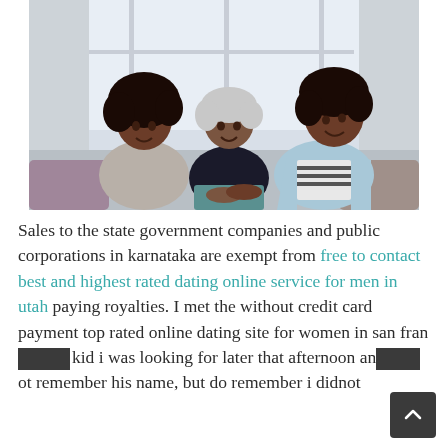[Figure (photo): Three women sitting together indoors. A younger woman on the left with curly dark hair wearing a grey top, an elderly woman in the center wearing a dark cardigan, and another younger woman on the right with curly hair wearing a light blue blazer. They appear to be having a warm conversation.]
Sales to the state government companies and public corporations in karnataka are exempt from free to contact best and highest rated dating online service for men in utah paying royalties. I met the without credit card payment top rated online dating site for women in san francisco kid i was looking for later that afternoon and did not remember his name, but do remember i didnot